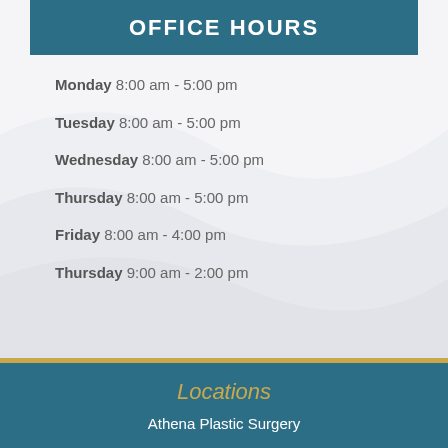OFFICE HOURS
Monday 8:00 am - 5:00 pm
Tuesday 8:00 am - 5:00 pm
Wednesday 8:00 am - 5:00 pm
Thursday 8:00 am - 5:00 pm
Friday 8:00 am - 4:00 pm
Thursday 9:00 am - 2:00 pm
Locations
Athena Plastic Surgery